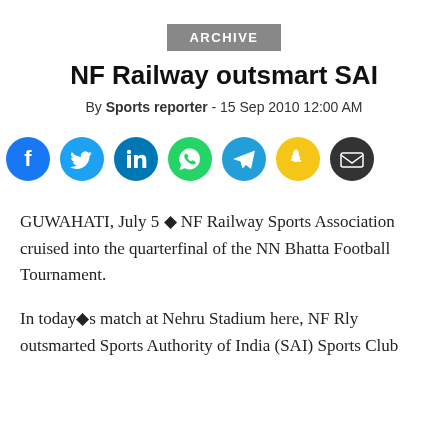ARCHIVE
NF Railway outsmart SAI
By Sports reporter - 15 Sep 2010 12:00 AM
[Figure (infographic): Social sharing icons row: Facebook (blue), Twitter (blue), LinkedIn (blue), WhatsApp (green), Telegram (blue), Snapchat (yellow), Email (dark grey)]
GUWAHATI, July 5 ◆ NF Railway Sports Association cruised into the quarterfinal of the NN Bhatta Football Tournament.
In today◆s match at Nehru Stadium here, NF Rly outsmarted Sports Authority of India (SAI) Sports Club